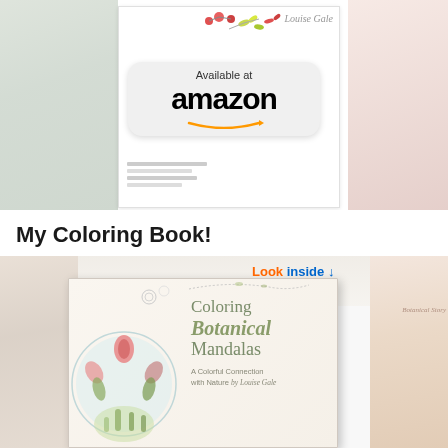[Figure (screenshot): Book promotional image collage showing 'Available at Amazon' badge with Amazon logo and smile arrow, overlaid on a spread of book pages and floral artwork]
My Coloring Book!
[Figure (photo): Amazon product listing screenshot showing 'Look inside' button and the book cover of 'Coloring Botanical Mandalas: A Colorful Connection with Nature by Louise Gale', featuring mandala artwork with botanical elements on white background, surrounded by background collage of floral and mandala images]